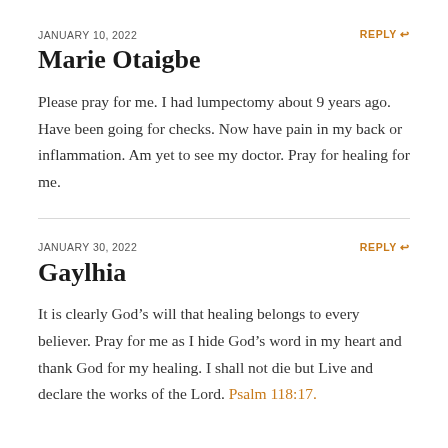JANUARY 10, 2022
REPLY
Marie Otaigbe
Please pray for me. I had lumpectomy about 9 years ago. Have been going for checks. Now have pain in my back or inflammation. Am yet to see my doctor. Pray for healing for me.
JANUARY 30, 2022
REPLY
Gaylhia
It is clearly God’s will that healing belongs to every believer. Pray for me as I hide God’s word in my heart and thank God for my healing. I shall not die but Live and declare the works of the Lord. Psalm 118:17.